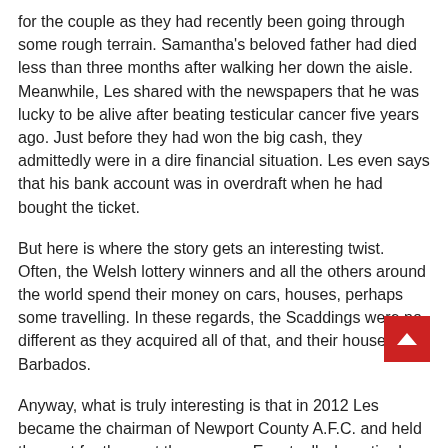for the couple as they had recently been going through some rough terrain. Samantha's beloved father had died less than three months after walking her down the aisle. Meanwhile, Les shared with the newspapers that he was lucky to be alive after beating testicular cancer five years ago. Just before they had won the big cash, they admittedly were in a dire financial situation. Les even says that his bank account was in overdraft when he had bought the ticket.
But here is where the story gets an interesting twist. Often, the Welsh lottery winners and all the others around the world spend their money on cars, houses, perhaps some travelling. In these regards, the Scaddings were no different as they acquired all of that, and their house is in Barbados.
Anyway, what is truly interesting is that in 2012 Les became the chairman of Newport County A.F.C. and held the post for the next three years. Eventually, he retired so he can spend more time in their exotic house. Finally, in case you are wondering, yes, could technically find the team at some of the best sports b g websites, and bet on their games.